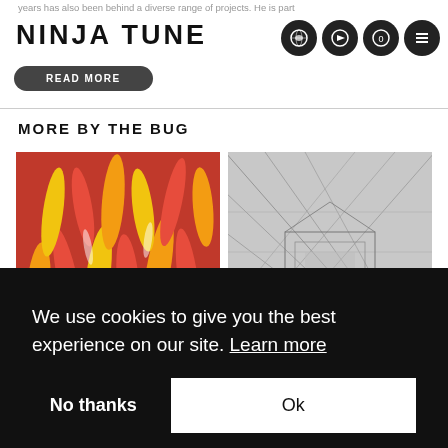NINJA TUNE
years has also been behind a diverse range of projects. He is part
READ MORE
MORE BY THE BUG
[Figure (photo): Album artwork - fire/flame pattern in red, orange and yellow on left; grey architectural/city aerial view on right]
We use cookies to give you the best experience on our site. Learn more
No thanks
Ok
[Figure (photo): Bottom strip showing partial album artwork thumbnails]